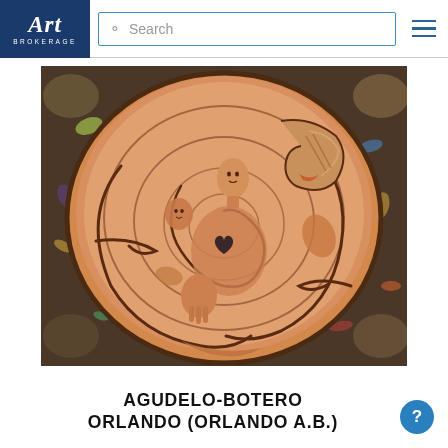Art Brokerage — Search
[Figure (illustration): Circular painting by Agudelo-Botero Orlando showing stylized figures including faces, hands, and a heart motif arranged in a spiral composition on an orange/terracotta circular form against a colorful textured background]
AGUDELO-BOTERO
ORLANDO (ORLANDO A.B.)